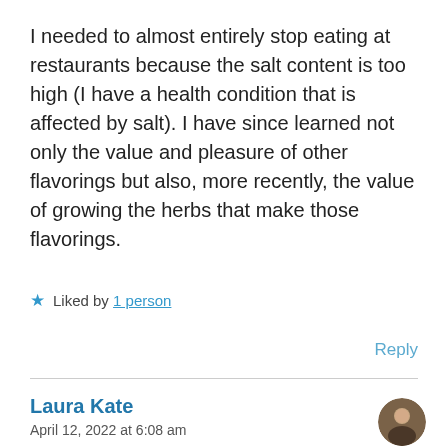I needed to almost entirely stop eating at restaurants because the salt content is too high (I have a health condition that is affected by salt). I have since learned not only the value and pleasure of other flavorings but also, more recently, the value of growing the herbs that make those flavorings.
★ Liked by 1 person
Reply
Laura Kate
April 12, 2022 at 6:08 am